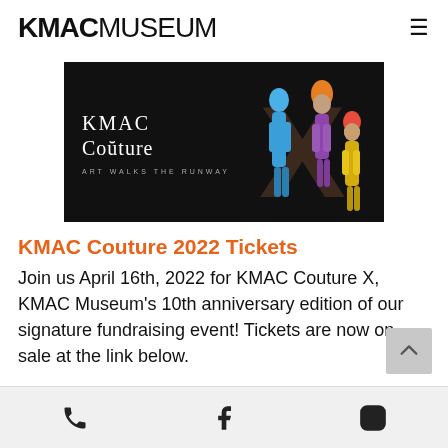KMAC MUSEUM
[Figure (photo): KMAC Couture 'Art Walks the Runway' promotional banner with models in colorful outfits against a dark background, featuring a large X shape]
KMAC Couture 2022 Tickets
Join us April 16th, 2022 for KMAC Couture X, KMAC Museum's 10th anniversary edition of our signature fundraising event! Tickets are now on sale at the link below.
Phone | Facebook | Instagram